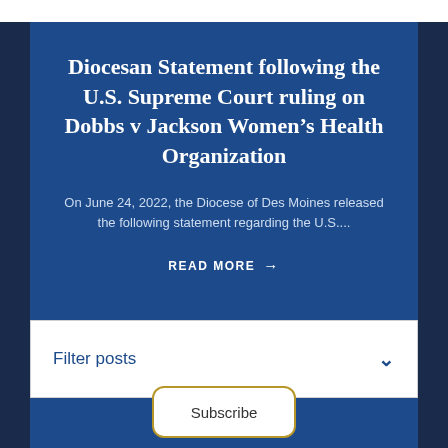Diocesan Statement following the U.S. Supreme Court ruling on Dobbs v Jackson Women's Health Organization
On June 24, 2022, the Diocese of Des Moines released the following statement regarding the U.S....
READ MORE →
Filter posts
Subscribe